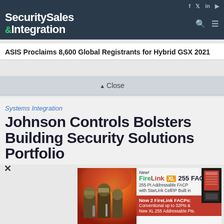Security Sales & Integration
ASIS Proclaims 8,600 Global Registrants for Hybrid GSX 2021
▲ Close
Systems Integration
Johnson Controls Bolsters Building Security Solutions Portfolio
[Figure (advertisement): FireLink XL 255 FACP advertisement - 255 Pt Addressable FACP with StarLink Cell/IP Built in. Now 2 FireLink FACPs: Conventional up to 32Pts & New XL 255 Addressable Pts. Shows firefighters and product image.]